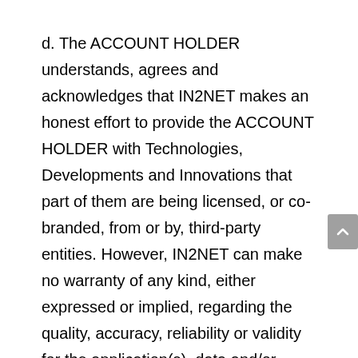d. The ACCOUNT HOLDER understands, agrees and acknowledges that IN2NET makes an honest effort to provide the ACCOUNT HOLDER with Technologies, Developments and Innovations that part of them are being licensed, or co-branded, from or by, third-party entities. However, IN2NET can make no warranty of any kind, either expressed or implied, regarding the quality, accuracy, reliability or validity for the application(s), data and/or information involved in such items. IN2NET specifically disclaims all